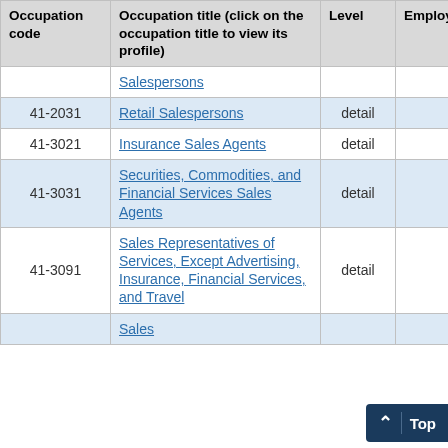| Occupation code | Occupation title (click on the occupation title to view its profile) | Level | Employment | Employment RSE |
| --- | --- | --- | --- | --- |
|  | Salespersons |  |  |  |
| 41-2031 | Retail Salespersons | detail | 1,040 | 2.8% |
| 41-3021 | Insurance Sales Agents | detail | 60 | 30.3% |
| 41-3031 | Securities, Commodities, and Financial Services Sales Agents | detail | 50 | 23.0% |
| 41-3091 | Sales Representatives of Services, Except Advertising, Insurance, Financial Services, and Travel | detail | 160 | 8.5% |
|  | Sales |  |  |  |